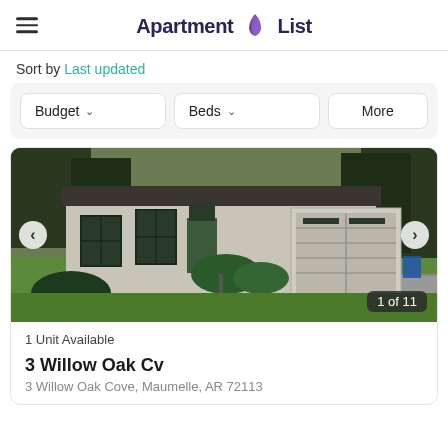Apartment List
Sort by Last updated
Budget  Beds  More
[Figure (photo): Exterior photo of a single-story house with white/grey siding, multiple windows, attached garage, green lawn, and driveway. Image counter shows 1 of 11.]
1 Unit Available
3 Willow Oak Cv
3 Willow Oak Cove, Maumelle, AR 72113